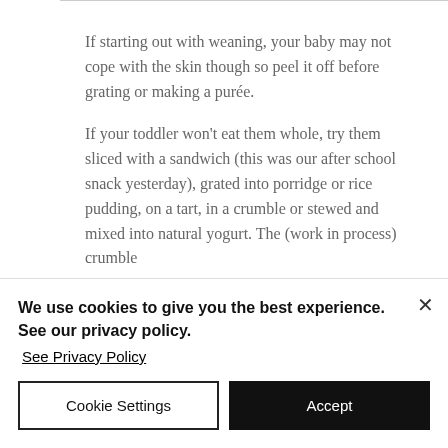If starting out with weaning, your baby may not cope with the skin though so peel it off before grating or making a purée.
If your toddler won't eat them whole, try them sliced with a sandwich (this was our after school snack yesterday), grated into porridge or rice pudding, on a tart, in a crumble or stewed and mixed into natural yogurt. The (work in process) crumble
We use cookies to give you the best experience. See our privacy policy.
See Privacy Policy